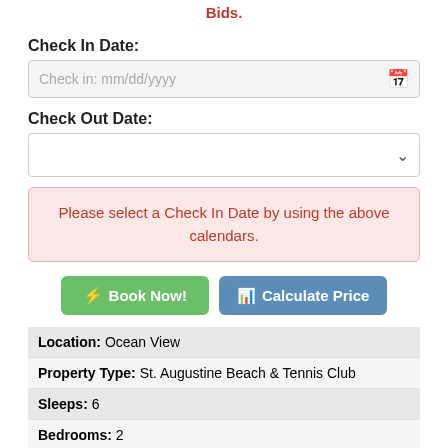Bids.
Check In Date:
Check in: mm/dd/yyyy
Check Out Date:
Please select a Check In Date by using the above calendars.
Book Now!
Calculate Price
| Location: | Ocean View |
| Property Type: | St. Augustine Beach & Tennis Club |
| Sleeps: | 6 |
| Bedrooms: | 2 |
| Baths: | 2 |
| Beds: | K TTSS |